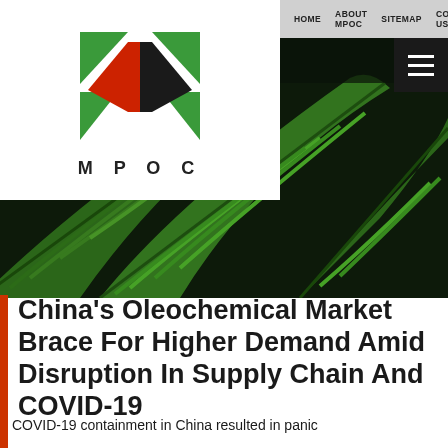HOME  ABOUT MPOC  SITEMAP  CONTACT US  RSS
[Figure (logo): MPOC logo: green and red/black diamond shape with M P O C text below]
[Figure (photo): Close-up photo of green tropical palm leaves on dark background]
China's Oleochemical Market Brace For Higher Demand Amid Disruption In Supply Chain And COVID-19
COVID-19 containment in China resulted in panic